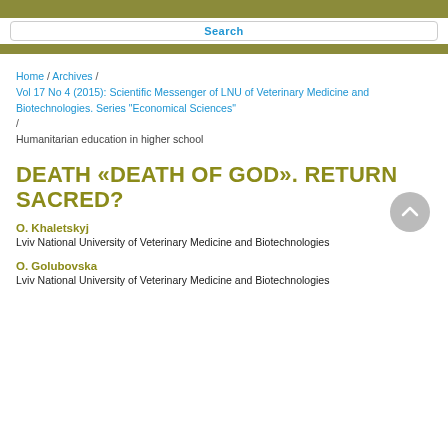Search
Home / Archives / Vol 17 No 4 (2015): Scientific Messenger of LNU of Veterinary Medicine and Biotechnologies. Series "Economical Sciences" / Humanitarian education in higher school
DEATH «DEATH OF GOD». RETURN SACRED?
O. Khaletskyj
Lviv National University of Veterinary Medicine and Biotechnologies
O. Golubovska
Lviv National University of Veterinary Medicine and Biotechnologies